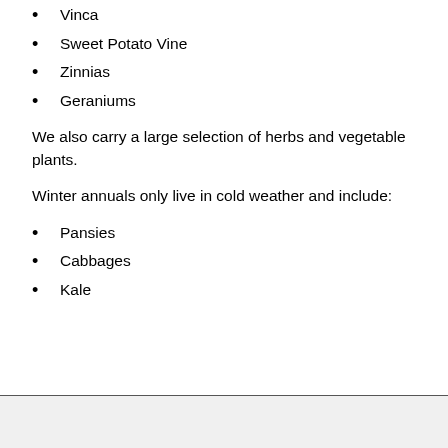Vinca
Sweet Potato Vine
Zinnias
Geraniums
We also carry a large selection of herbs and vegetable plants.
Winter annuals only live in cold weather and include:
Pansies
Cabbages
Kale